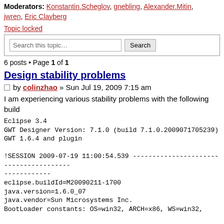Moderators: Konstantin.Scheglov, gnebling, Alexander.Mitin, jwren, Eric Clayberg
Topic locked
6 posts • Page 1 of 1
Design stability problems
by colinzhao » Sun Jul 19, 2009 7:15 am
I am experiencing various stability problems with the following build

Eclipse 3.4
GWT Designer Version: 7.1.0 (build 7.1.0.2009071705239)
GWT 1.6.4 and plugin

!SESSION 2009-07-19 11:00:54.539 ------------------------------------------------------------
eclipse.buildId=M20090211-1700
java.version=1.6.0_07
java.vendor=Sun Microsystems Inc.
BootLoader constants: OS=win32, ARCH=x86, WS=win32,